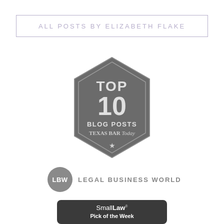ALL POSTS BY ELIZABETH FLAKE
[Figure (logo): Top 10 Blog Posts Texas Bar Today badge — hexagonal dark gray badge with star at bottom]
[Figure (logo): Legal Business World logo — gray circle with LBW text and Legal Business World wordmark]
[Figure (logo): SmallLaw Pick of the Week badge — dark rounded rectangle with SmallLaw bold and Pick of the Week text, www.technolawyer.com below]